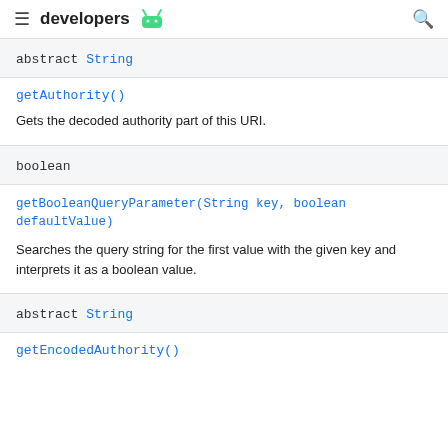developers
| abstract String | getAuthority() | Gets the decoded authority part of this URI. |
| boolean | getBooleanQueryParameter(String key, boolean defaultValue) | Searches the query string for the first value with the given key and interprets it as a boolean value. |
| abstract String | getEncodedAuthority() |  |